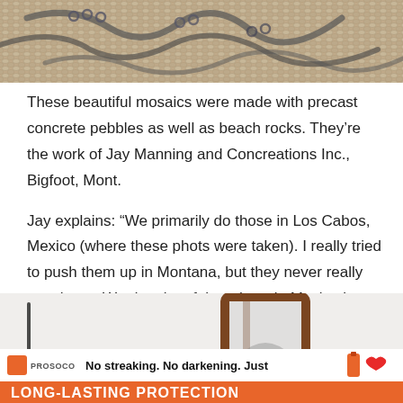[Figure (photo): Close-up of a mosaic made with precast concrete pebbles and beach rocks, showing swirling dark patterns on a textured light-colored surface.]
These beautiful mosaics were made with precast concrete pebbles as well as beach rocks. They're the work of Jay Manning and Concreations Inc., Bigfoot, Mont.
Jay explains: “We primarily do those in Los Cabos, Mexico (where these phots were taken). I really tried to push them up in Montana, but they never really caught on. We do a lot of them here in Mexico in large vacation homes.
[Figure (photo): Several decorative mirrors with ornate frames — one wooden, one metal — displayed against a light background. A reCAPTCHA logo is partially visible in the bottom-right corner.]
[Figure (other): PROSOCO advertisement banner: 'No streaking. No darkening. Just LONG-LASTING PROTECTION' with product bottle imagery and logo.]